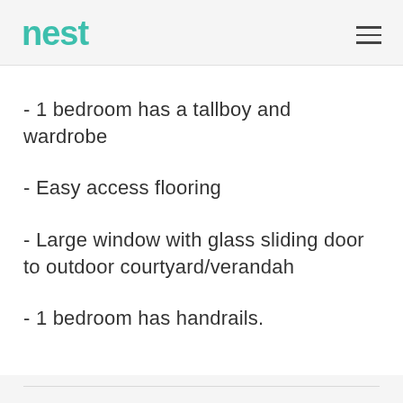nest
- 1 bedroom has a tallboy and wardrobe
- Easy access flooring
- Large window with glass sliding door to outdoor courtyard/verandah
- 1 bedroom has handrails.